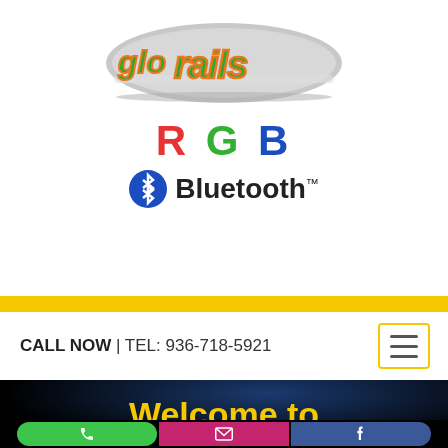[Figure (logo): Glo Rails stylized logo with orange and green lettering on a silver banner]
RGB
[Figure (logo): Bluetooth logo with trademark symbol and text 'Bluetooth']
CALL NOW | TEL: 936-718-5921
Welcome to
[Figure (infographic): Three action buttons: green phone/call button, pink/magenta email button, blue Facebook button]